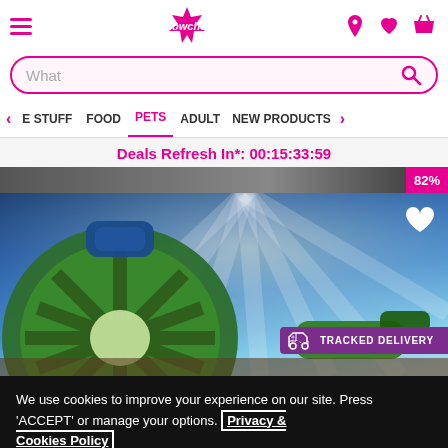Wowcher website header with hamburger menu, logo, location, wishlist, and basket icons
What
E STUFF  FOOD  PETS  ADULT  NEW PRODUCTS
Deals Refresh In*: 00:15:33:59
82%
[Figure (photo): Green garden hose reel against a dramatic blue sky with sunbeams. A purple tracked delivery badge is shown bottom right. A white heart icon is top right.]
We use cookies to improve your experience on our site. Press 'ACCEPT' or manage your options. Privacy & Cookies Policy
Options
ACCEPT